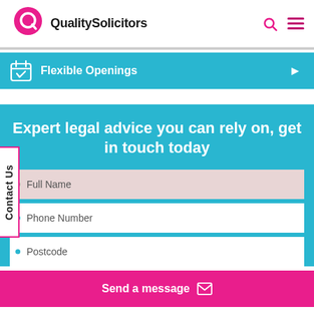QualitySolicitors
Flexible Openings
Expert legal advice you can rely on, get in touch today
Full Name
Phone Number
Postcode
Send a message